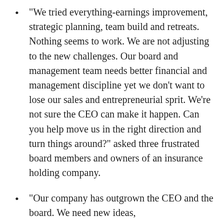“We tried everything-earnings improvement, strategic planning, team build and retreats. Nothing seems to work. We are not adjusting to the new challenges. Our board and management team needs better financial and management discipline yet we don’t want to lose our sales and entrepreneurial sprit. We’re not sure the CEO can make it happen. Can you help move us in the right direction and turn things around?” asked three frustrated board members and owners of an insurance holding company.
“Our company has outgrown the CEO and the board. We need new ideas,